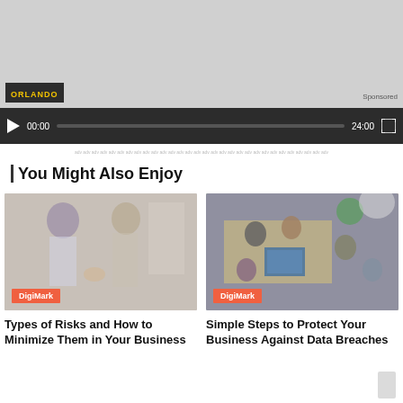[Figure (screenshot): Video player with grey preview area showing ORLANDO badge and Sponsored label, with playback controls showing 00:00 / 24:00 time and progress bar on dark background]
You Might Also Enjoy
[Figure (photo): Business meeting photo with DigiMark badge, showing people shaking hands and interacting in an office setting]
Types of Risks and How to Minimize Them in Your Business
[Figure (photo): Overhead view of office workers at desks with computer screens and DigiMark badge]
Simple Steps to Protect Your Business Against Data Breaches